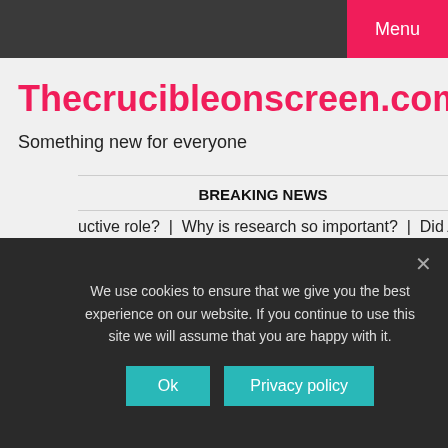Menu
Thecrucibleonscreen.com
Something new for everyone
BREAKING NEWS
uctive role? | Why is research so important? | Did Achilles
25/08/2022
We use cookies to ensure that we give you the best experience on our website. If you continue to use this site we will assume that you are happy with it.